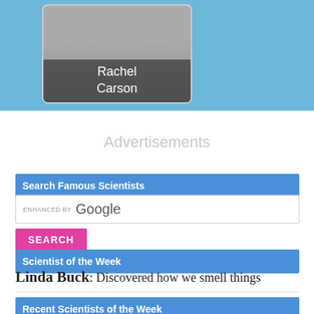[Figure (photo): Card with photo of Rachel Carson on blue banner background]
Advertisements
Search Famous Scientists
[Figure (screenshot): Enhanced by Google search bar with pink SEARCH button]
Scientist of the Week
Linda Buck: Discovered how we smell things
Recent Scientists of the Week
Jan Ingenhousz: Discovered photosynthesis